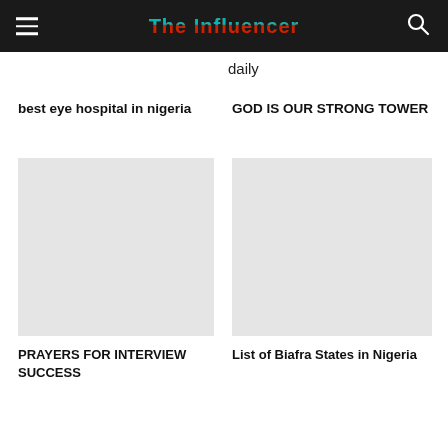The Influencer
daily
best eye hospital in nigeria
GOD IS OUR STRONG TOWER
[Figure (photo): Image placeholder for article about best eye hospital in nigeria]
[Figure (photo): Image placeholder for GOD IS OUR STRONG TOWER article]
PRAYERS FOR INTERVIEW SUCCESS
List of Biafra States in Nigeria